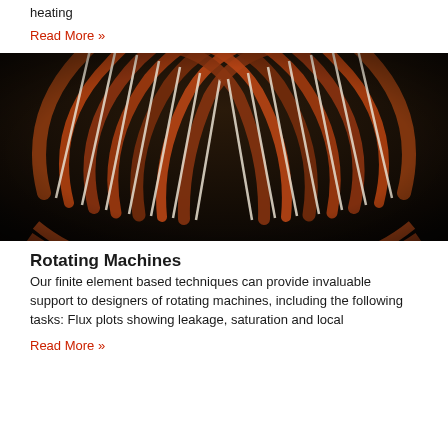heating
Read More »
[Figure (photo): Close-up photograph of copper windings of an electric motor or generator stator, showing radial copper coils arranged in a circular pattern with white insulation separators.]
Rotating Machines
Our finite element based techniques can provide invaluable support to designers of rotating machines, including the following tasks: Flux plots showing leakage, saturation and local
Read More »